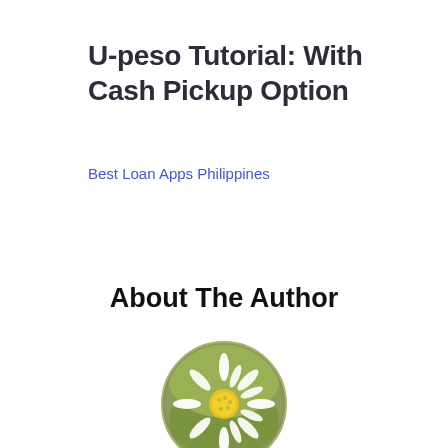U-peso Tutorial: With Cash Pickup Option
Best Loan Apps Philippines
About The Author
[Figure (photo): Circular photo of a white daisy flower with yellow center on a green background]